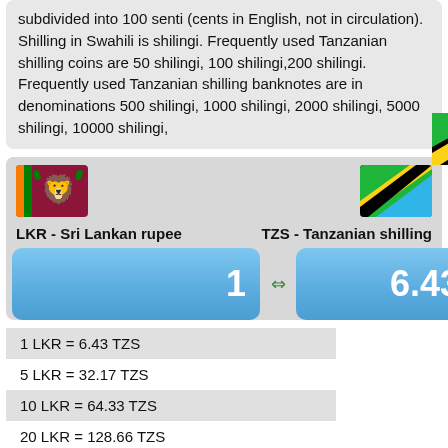subdivided into 100 senti (cents in English, not in circulation). Shilling in Swahili is shilingi. Frequently used Tanzanian shilling coins are 50 shilingi, 100 shilingi,200 shilingi. Frequently used Tanzanian shilling banknotes are in denominations 500 shilingi, 1000 shilingi, 2000 shilingi, 5000 shilingi, 10000 shilingi,
[Figure (infographic): Currency converter showing Sri Lankan rupee (LKR) to Tanzanian shilling (TZS) with flags and exchange rate of 1 LKR = 6.4332 TZS]
| 1 LKR = 6.43 TZS |
| 5 LKR = 32.17 TZS |
| 10 LKR = 64.33 TZS |
| 20 LKR = 128.66 TZS |
| 25 LKR = 160.83 TZS |
| 50 LKR = 321.66 TZS |
| 100 LKR = 643.32 TZS |
| 200 LKR = 1,286.63 TZS |
| 250 LKR = 1,608.29 TZS |
| 500 LKR = 3,216.58 TZS |